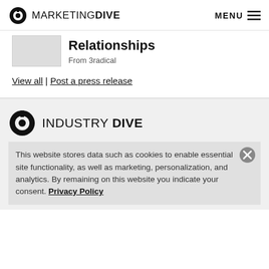MARKETING DIVE | MENU
Relationships
From 3radical
View all | Post a press release
[Figure (logo): Industry Dive logo with circular D icon]
This website stores data such as cookies to enable essential site functionality, as well as marketing, personalization, and analytics. By remaining on this website you indicate your consent. Privacy Policy